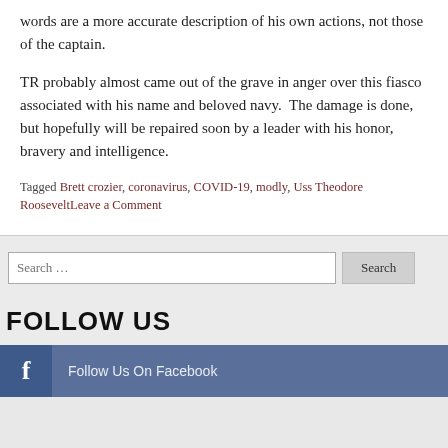words are a more accurate description of his own actions, not those of the captain.
TR probably almost came out of the grave in anger over this fiasco associated with his name and beloved navy.  The damage is done, but hopefully will be repaired soon by a leader with his honor, bravery and intelligence.
Tagged Brett crozier, coronavirus, COVID-19, modly, Uss Theodore RooseveltLeave a Comment
Search ...
FOLLOW US
Follow Us On Facebook